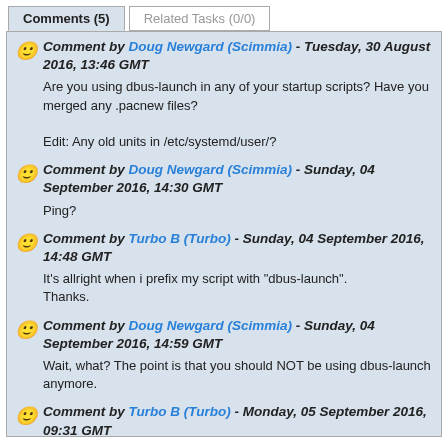Comments (5)
Related Tasks (0/0)
Comment by Doug Newgard (Scimmia) - Tuesday, 30 August 2016, 13:46 GMT
Are you using dbus-launch in any of your startup scripts? Have you merged any .pacnew files?

Edit: Any old units in /etc/systemd/user/?
Comment by Doug Newgard (Scimmia) - Sunday, 04 September 2016, 14:30 GMT
Ping?
Comment by Turbo B (Turbo) - Sunday, 04 September 2016, 14:48 GMT
It's allright when i prefix my script with "dbus-launch".
Thanks.
Comment by Doug Newgard (Scimmia) - Sunday, 04 September 2016, 14:59 GMT
Wait, what? The point is that you should NOT be using dbus-launch anymore.
Comment by Turbo B (Turbo) - Monday, 05 September 2016, 09:31 GMT